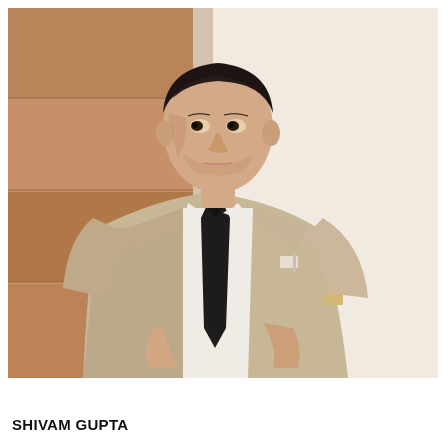[Figure (photo): A young man in a light beige/tan suit with a white dress shirt and black tie, standing against a wall with a wooden paneled background on the left. He is looking to his left. The photo has a warm, slightly sepia-toned quality.]
SHIVAM GUPTA